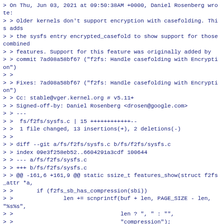> On Thu, Jun 03, 2021 at 09:50:38AM +0000, Daniel Rosenberg wrote:
> > Older kernels don't support encryption with casefolding. This adds
> > the sysfs entry encrypted_casefold to show support for those combined
> > features. Support for this feature was originally added by
> > commit 7ad08a58bf67 ("f2fs: Handle casefolding with Encryption")
> >
> > Fixes: 7ad08a58bf67 ("f2fs: Handle casefolding with Encryption")
> > Cc: stable@vger.kernel.org # v5.11+
> > Signed-off-by: Daniel Rosenberg <drosen@google.com>
> > ---
> >  fs/f2fs/sysfs.c | 15 ++++++++++++--
> >  1 file changed, 13 insertions(+), 2 deletions(-)
> >
> > diff --git a/fs/f2fs/sysfs.c b/fs/f2fs/sysfs.c
> > index 09e3f258eb52..6604291a3cdf 100644
> > --- a/fs/f2fs/sysfs.c
> > +++ b/fs/f2fs/sysfs.c
> > @@ -161,6 +161,9 @@ static ssize_t features_show(struct f2fs_attr *a,
> >       if (f2fs_sb_has_compression(sbi))
> >               len += scnprintf(buf + len, PAGE_SIZE - len, "%s%s",
> >                                len ? ", " : "",
> >                                "compression");